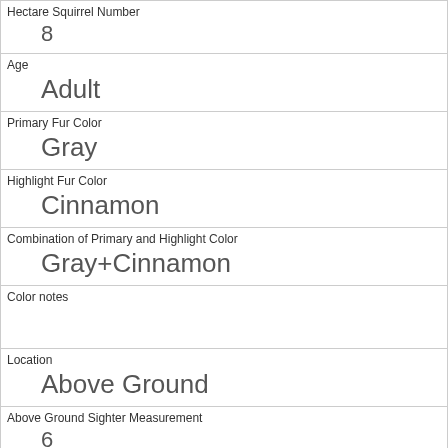| Hectare Squirrel Number | 8 |
| Age | Adult |
| Primary Fur Color | Gray |
| Highlight Fur Color | Cinnamon |
| Combination of Primary and Highlight Color | Gray+Cinnamon |
| Color notes |  |
| Location | Above Ground |
| Above Ground Sighter Measurement | 6 |
| Specific Location | tree |
| Running | 0 |
| Chasing |  |